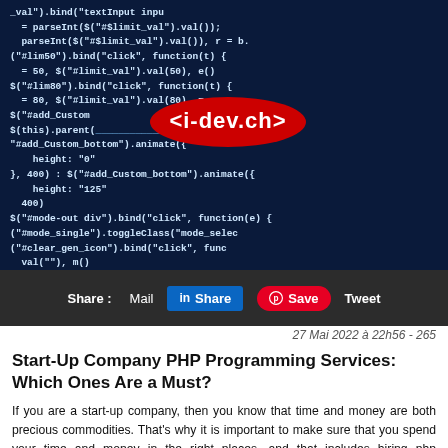[Figure (screenshot): Dark blue background showing JavaScript/jQuery source code in monospace font, with a red oval logo overlay reading '<i-dev.ch>']
Share : Mail  in Share  @ Save  Tweet
27 Mai 2022 à 22h56 - 265
Start-Up Company PHP Programming Services: Which Ones Are a Must?
If you are a start-up company, then you know that time and money are both precious commodities. That's why it is important to make sure that you spend your time and money in the right places, and that includes hiring php programming services. But with so many options available, which ones should you choose? In this blog post, we will discuss the most important php programming services that every start-up company should consider!